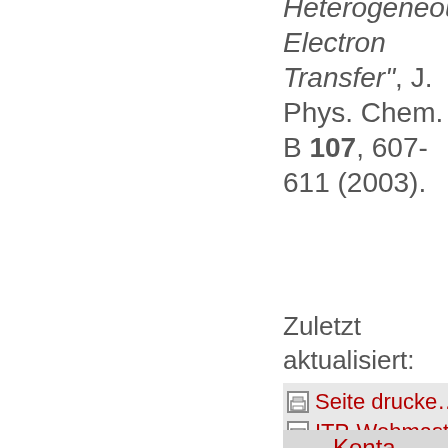Heterogeneous Electron Transfer", J. Phys. Chem. B 107, 607-611 (2003).
Zuletzt aktualisiert: 21.09.
Seite drucke…
ITP-Webmaste…
Konta…